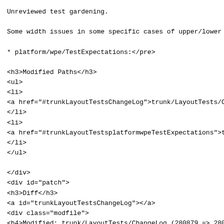Unreviewed test gardening.

Some width issues in some specific cases of upper/lower r

* platform/wpe/TestExpectations:</pre>

<h3>Modified Paths</h3>
<ul>
<li>
<a href="#trunkLayoutTestsChangeLog">trunk/LayoutTests/Ch
</li>
<li>
<a href="#trunkLayoutTestsplatformwpeTestExpectations">tr
</li>
</ul>

</div>
<div id="patch">
<h3>Diff</h3>
<a id="trunkLayoutTestsChangeLog"></a>
<div class="modfile">
<h4>Modified: trunk/LayoutTests/ChangeLog (280879 => 2808
</h4>
<pre class="diff"><span>
<span class="info">--
- trunk/LayoutTests/ChangeLog      2021-08-
11 01:51:25 UTC (rev 280879)
+++ trunk/LayoutTests/ChangeLog 2021-08-
11 01:55:16 UTC (rev 280880)